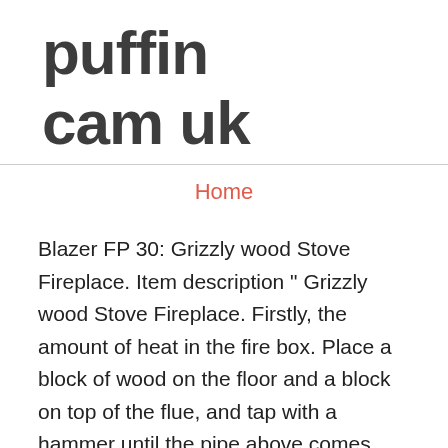puffin cam uk
Home
Blazer FP 30: Grizzly wood Stove Fireplace. Item description " Grizzly wood Stove Fireplace. Firstly, the amount of heat in the fire box. Place a block of wood on the floor and a block on top of the flue, and tap with a hammer until the pipe above comes onto the bump on the pipe bellow. Wood Stove - For Sale in Elm Grove, WI: wood stove WOOD GLOW reduced in Big Bend, CAST IRON WOOD BURNING STOVE in Milwaukee, wood